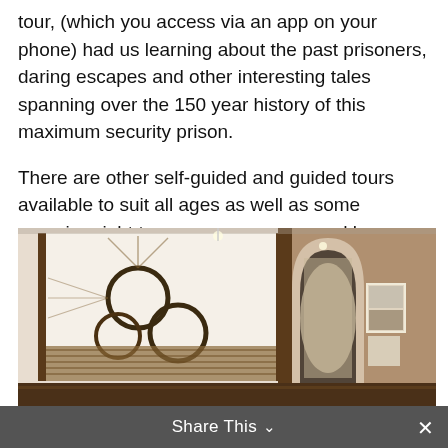tour, (which you access via an app on your phone) had us learning about the past prisoners, daring escapes and other interesting tales spanning over the 150 year history of this maximum security prison.
There are other self-guided and guided tours available to suit all ages as well as some creepier night tours, escape rooms and laser tag.
[Figure (photo): Interior of a gallery or exhibition hall showing Aboriginal or indigenous artworks hung on white walls with circular and linear motifs, viewed through an arched corridor leading to another gallery room with more framed works.]